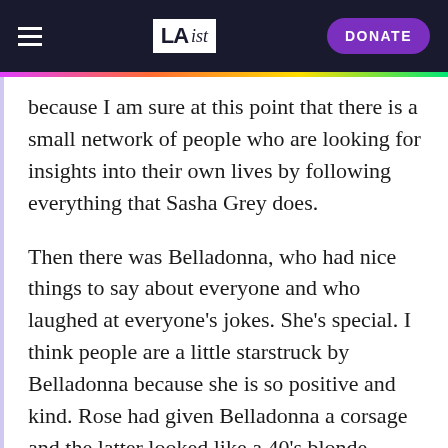LAist — DONATE
because I am sure at this point that there is a small network of people who are looking for insights into their own lives by following everything that Sasha Grey does.
Then there was Belladonna, who had nice things to say about everyone and who laughed at everyone’s jokes. She’s special. I think people are a little starstruck by Belladonna because she is so positive and kind. Rose had given Belladonna a corsage and the latter looked like a 40's blonde